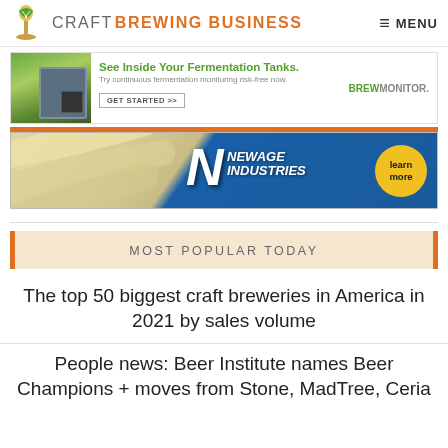CRAFT BREWING BUSINESS   MENU
[Figure (screenshot): BrewMonitor advertisement: See Inside Your Fermentation Tanks. Try continuous fermentation monitoring risk-free now. GET STARTED >> BREWMONITOR.]
[Figure (screenshot): NewAge Industries advertisement with tubing image, logo, and learn more badge]
MOST POPULAR TODAY
The top 50 biggest craft breweries in America in 2021 by sales volume
People news: Beer Institute names Beer Champions + moves from Stone, MadTree, Ceria